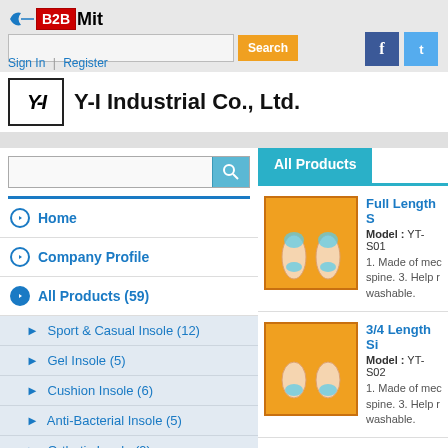B2BMit — Sign In | Register
[Figure (logo): B2BMit logo with red B2B box and black Mit text, with arrow graphic]
[Figure (screenshot): Search bar with orange Search button, Facebook and Twitter social icons]
Sign In  |  Register
[Figure (logo): Y-I company logo box]
Y-I Industrial Co., Ltd.
[Figure (screenshot): Sidebar search box with magnifying glass icon]
All Products
Home
Company Profile
All Products (59)
Sport & Casual Insole (12)
Gel Insole (5)
Cushion Insole (6)
Anti-Bacterial Insole (5)
Orthotic Insole (9)
[Figure (photo): Orange background product image showing two insole footbeds with blue gel cushion areas]
Full Length S
Model : YT-S01
1. Made of mec spine. 3. Help r washable.
[Figure (photo): Orange background product image showing two 3/4 length insoles with blue gel cushion areas at heel]
3/4 Length Si
Model : YT-S02
1. Made of mec spine. 3. Help r washable.